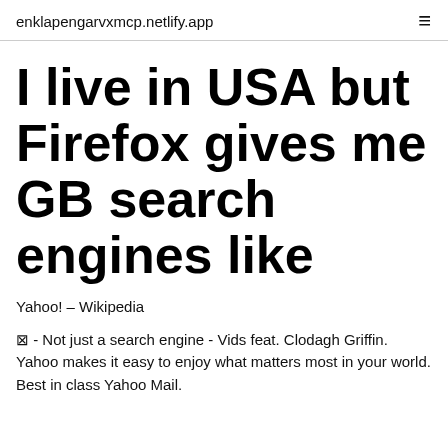enklapengarvxmcp.netlify.app
I live in USA but Firefox gives me GB search engines like
Yahoo! – Wikipedia
⊠ - Not just a search engine - Vids feat. Clodagh Griffin. Yahoo makes it easy to enjoy what matters most in your world. Best in class Yahoo Mail.